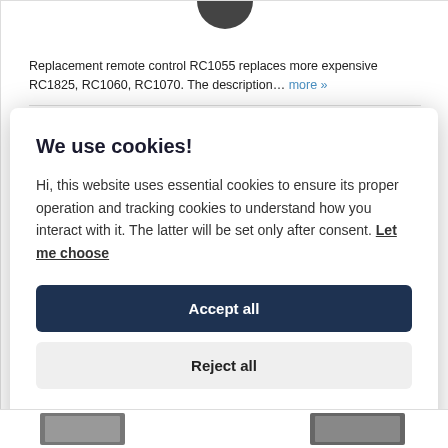[Figure (photo): Top portion of a dark circular remote control device, partially visible at the top center of the page]
Replacement remote control RC1055 replaces more expensive RC1825, RC1060, RC1070. The description… more »
We use cookies!
Hi, this website uses essential cookies to ensure its proper operation and tracking cookies to understand how you interact with it. The latter will be set only after consent. Let me choose
Accept all
Reject all
[Figure (photo): Bottom strip showing partial product images of remote controls]